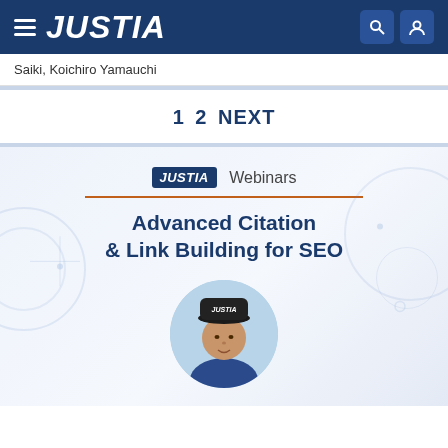JUSTIA
Saiki, Koichiro Yamauchi
1  2  NEXT
[Figure (screenshot): Justia Webinars promotional banner for 'Advanced Citation & Link Building for SEO' featuring a circular headshot of a man wearing a dark cap with 'JUSTIA' text, a blue shirt, on a light blue background with decorative circuit-line graphics.]
Advanced Citation & Link Building for SEO